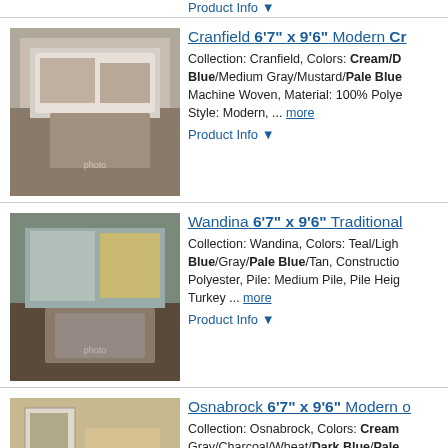Product Info ▼
[Figure (photo): Cranfield rug product photo in bedroom setting]
Cranfield 6'7" x 9'6" Modern Cr... Collection: Cranfield, Colors: Cream/D Blue/Medium Gray/Mustard/Pale Blue Machine Woven, Material: 100% Polye Style: Modern, ... more
Product Info ▼
[Figure (photo): Wandina rug product photo in living room setting]
Wandina 6'7" x 9'6" Traditional... Collection: Wandina, Colors: Teal/Ligh Blue/Gray/Pale Blue/Tan, Constructio Polyester, Pile: Medium Pile, Pile Heig Turkey ... more
Product Info ▼
[Figure (photo): Osnabrock rug product photo in living room setting]
Osnabrock 6'7" x 9'6" Modern o... Collection: Osnabrock, Colors: Cream Gray/Charcoal/Wheat/Dark Blue/Pale Machine Woven, Material: 70% Polypr Height: 0.02", Style: Modern, Made ...
Product Info ▼
[Figure (photo): Midfield rug product photo in living room setting]
Midfield 6'7" x 9'6" Modern Lig... Collection: Midfield, Colors: Light Gray Gray/Taupe/Teal/Cream/Dark Blue/Gr Woven, Material: 100% Polyester, Pile Modern, Made in: Turkey ... more
Product Info ▼